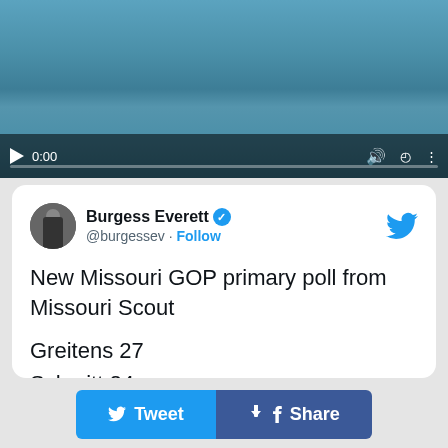[Figure (screenshot): Video player showing a person in a swimming pool. Controls visible: play button, timestamp 0:00, volume icon, fullscreen icon, and a progress bar at the bottom.]
Burgess Everett @burgessev · Follow
New Missouri GOP primary poll from Missouri Scout

Greitens 27
Schmitt 24
Hartzler 16
Long 7
Tweet   Share